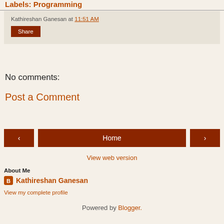Labels: Programming
Kathireshan Ganesan at 11:51 AM
Share
No comments:
Post a Comment
‹  Home  ›
View web version
About Me
Kathireshan Ganesan
View my complete profile
Powered by Blogger.